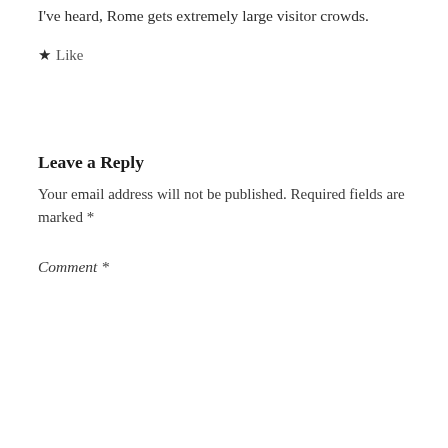I've heard, Rome gets extremely large visitor crowds.
★ Like
Leave a Reply
Your email address will not be published. Required fields are marked *
Comment *